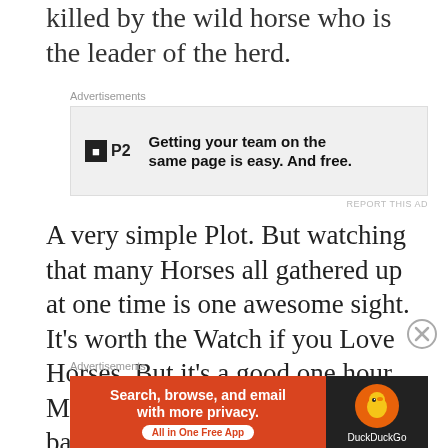killed by the wild horse who is the leader of the herd.
[Figure (other): P2 advertisement: Getting your team on the same page is easy. And free.]
A very simple Plot. But watching that many Horses all gathered up at one time is one awesome sight. It’s worth the Watch if you Love Horses. But it’s a good one hour Movie that you’ll enjoy over a barrel bucket of buttered Popcorn
[Figure (other): DuckDuckGo advertisement: Search, browse, and email with more privacy. All in One Free App]